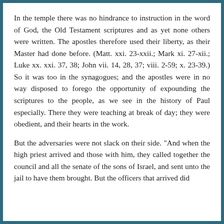In the temple there was no hindrance to instruction in the word of God, the Old Testament scriptures and as yet none others were written. The apostles therefore used their liberty, as their Master had done before. (Matt. xxi. 23-xxii.; Mark xi. 27-xii.; Luke xx. xxi. 37, 38; John vii. 14, 28, 37; viii. 2-59; x. 23-39.) So it was too in the synagogues; and the apostles were in no way disposed to forego the opportunity of expounding the scriptures to the people, as we see in the history of Paul especially. There they were teaching at break of day; they were obedient, and their hearts in the work.
But the adversaries were not slack on their side. "And when the high priest arrived and those with him, they called together the council and all the senate of the sons of Israel, and sent unto the jail to have them brought. But the officers that arrived did